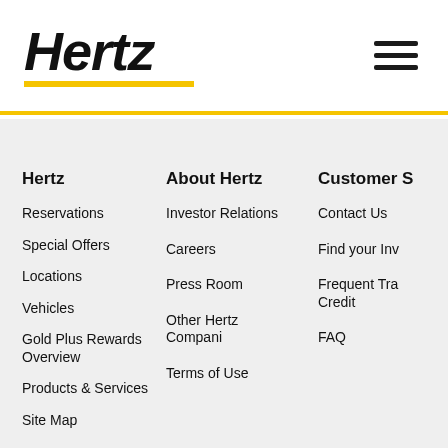[Figure (logo): Hertz company logo in bold italic black text with yellow underline]
Hertz
Reservations
Special Offers
Locations
Vehicles
Gold Plus Rewards Overview
Products & Services
Site Map
About Hertz
Investor Relations
Careers
Press Room
Other Hertz Companies
Terms of Use
Customer S
Contact Us
Find your Inv
Frequent Tra Credit
FAQ